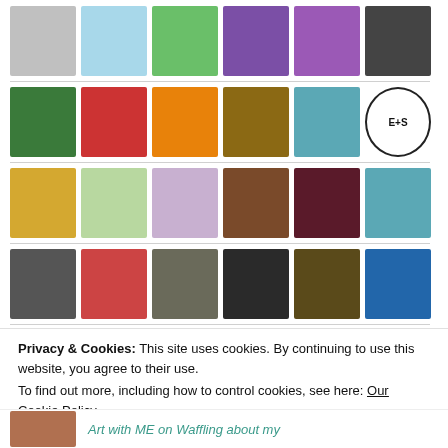[Figure (screenshot): Grid of user avatar images in multiple rows, showing profile photos, logos, patterns, and illustrations from a blog followers section]
Privacy & Cookies: This site uses cookies. By continuing to use this website, you agree to their use.
To find out more, including how to control cookies, see here:
Our Cookie Policy
Close and accept
Art with ME on Waffling about my